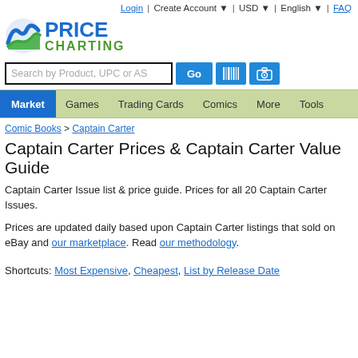Login | Create Account ▾ | USD ▾ | English ▾ | FAQ
[Figure (logo): PriceCharting logo with blue wave/mountain icon and blue PRICE green CHARTING text]
Search by Product, UPC or AS [Go] [barcode] [camera]
Market | Games | Trading Cards | Comics | More | Tools
Comic Books > Captain Carter
Captain Carter Prices & Captain Carter Value Guide
Captain Carter Issue list & price guide. Prices for all 20 Captain Carter Issues.
Prices are updated daily based upon Captain Carter listings that sold on eBay and our marketplace. Read our methodology.
Shortcuts: Most Expensive, Cheapest, List by Release Date